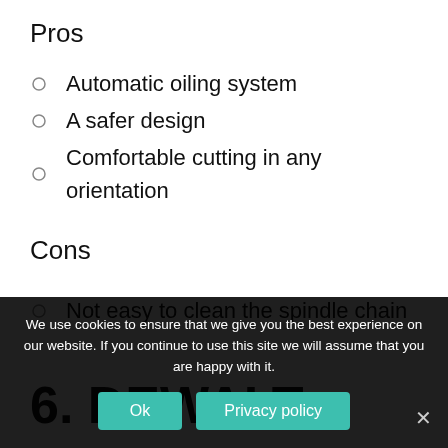Pros
Automatic oiling system
A safer design
Comfortable cutting in any orientation
Cons
Not easy to clean the spindle chain
6. DEWALT
We use cookies to ensure that we give you the best experience on our website. If you continue to use this site we will assume that you are happy with it.